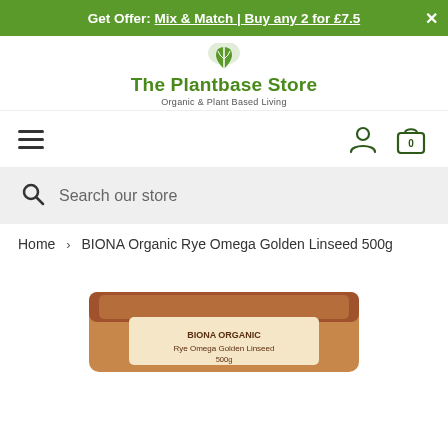Get Offer: Mix & Match | Buy any 2 for £7.5
[Figure (logo): The Plantbase Store logo with leaf icon and tagline 'Organic & Plant Based Living']
[Figure (screenshot): Navigation bar with hamburger menu, user icon, and shopping bag icon showing 0 items]
Search our store
Home > BIONA Organic Rye Omega Golden Linseed 500g
[Figure (photo): Bottom portion of a product package for BIONA Organic Rye Omega Golden Linseed 500g]